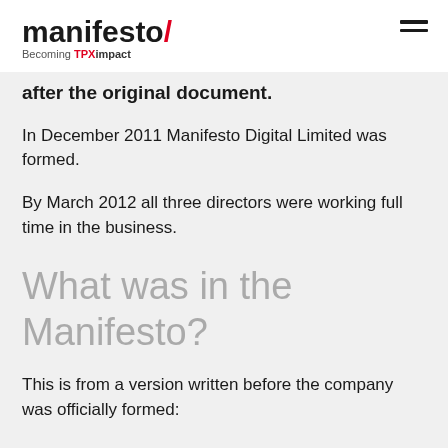manifesto/ Becoming TPXimpact
after the original document.
In December 2011 Manifesto Digital Limited was formed.
By March 2012 all three directors were working full time in the business.
What was in the Manifesto?
This is from a version written before the company was officially formed:
Mission